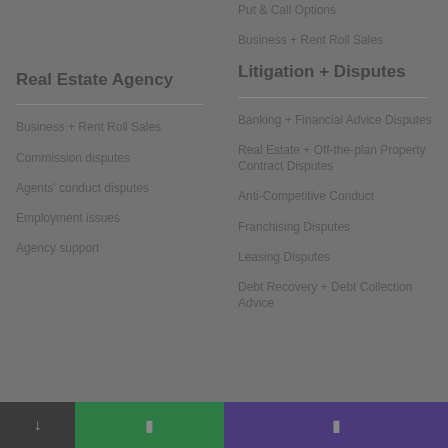Put & Call Options
Business + Rent Roll Sales
Real Estate Agency
Business + Rent Roll Sales
Commission disputes
Agents' conduct disputes
Employment issues
Agency support
Litigation + Disputes
Banking + Financial Advice Disputes
Real Estate + Off-the-plan Property Contract Disputes
Anti-Competitive Conduct
Franchising Disputes
Leasing Disputes
Debt Recovery + Debt Collection Advice